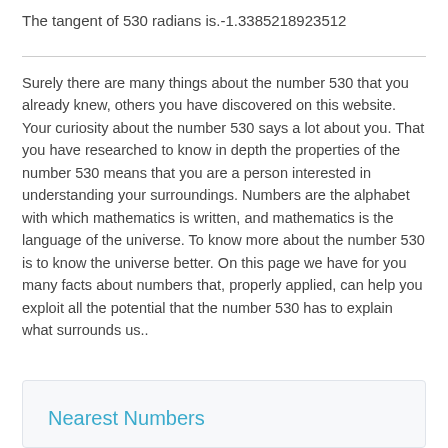The tangent of 530 radians is.-1.3385218923512
Surely there are many things about the number 530 that you already knew, others you have discovered on this website. Your curiosity about the number 530 says a lot about you. That you have researched to know in depth the properties of the number 530 means that you are a person interested in understanding your surroundings. Numbers are the alphabet with which mathematics is written, and mathematics is the language of the universe. To know more about the number 530 is to know the universe better. On this page we have for you many facts about numbers that, properly applied, can help you exploit all the potential that the number 530 has to explain what surrounds us..
Nearest Numbers